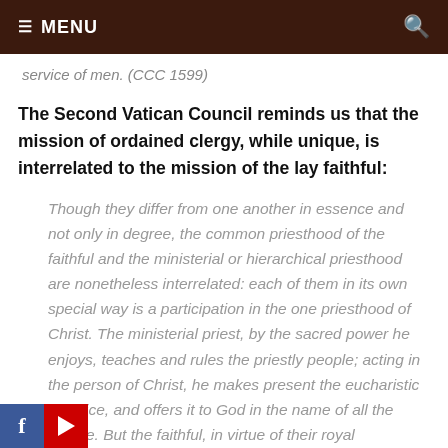≡ MENU
service of men. (CCC 1599)
The Second Vatican Council reminds us that the mission of ordained clergy, while unique, is interrelated to the mission of the lay faithful:
Though they differ from one another in essence and not only in degree, the common priesthood of the faithful and the ministerial or hierarchical priesthood are nonetheless interrelated: each of them in its own special way is a participation in the one priesthood of Christ. The ministerial priest, by the sacred power he enjoys, teaches and rules the priestly people; acting in the person of Christ, he makes present the eucharistic sacrifice, and offers it to God in the name of all the people. But the faithful, in virtue of their royal priesthood, join in